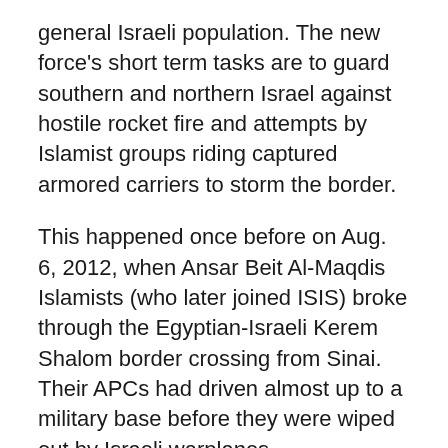general Israeli population. The new force's short term tasks are to guard southern and northern Israel against hostile rocket fire and attempts by Islamist groups riding captured armored carriers to storm the border.
This happened once before on Aug. 6, 2012, when Ansar Beit Al-Maqdis Islamists (who later joined ISIS) broke through the Egyptian-Israeli Kerem Shalom border crossing from Sinai. Their APCs had driven almost up to a military base before they were wiped out by Israeli warplanes.
The new Commando Brigade is designed for quiet, bold, covert and effective action against terrorist groups posing a threat from the Sinai Desert to Egyptian sovereignty and Israel's southern border. Such action would be coordinated closely between Israeli and Egyptian military and